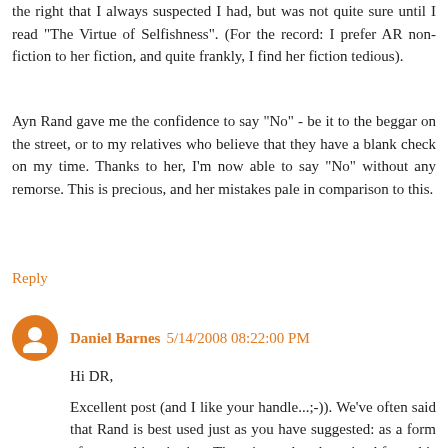the right that I always suspected I had, but was not quite sure until I read "The Virtue of Selfishness". (For the record: I prefer AR non-fiction to her fiction, and quite frankly, I find her fiction tedious).
Ayn Rand gave me the confidence to say "No" - be it to the beggar on the street, or to my relatives who believe that they have a blank check on my time. Thanks to her, I'm now able to say "No" without any remorse. This is precious, and her mistakes pale in comparison to this.
Reply
Daniel Barnes 5/14/2008 08:22:00 PM
Hi DR,
Excellent post (and I like your handle...;-)). We've often said that Rand is best used just as you have suggested: as a form of personal inspiration. There is much to be gained from this approach to her work. However, if you take her actual doctrines literally you will end up in trouble. I also